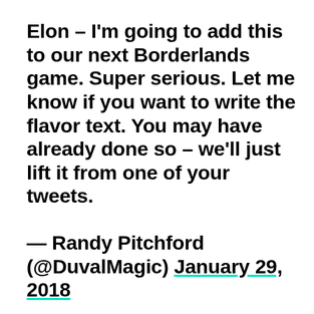Elon – I'm going to add this to our next Borderlands game. Super serious. Let me know if you want to write the flavor text. You may have already done so – we'll just lift it from one of your tweets.
— Randy Pitchford (@DuvalMagic) January 29, 2018